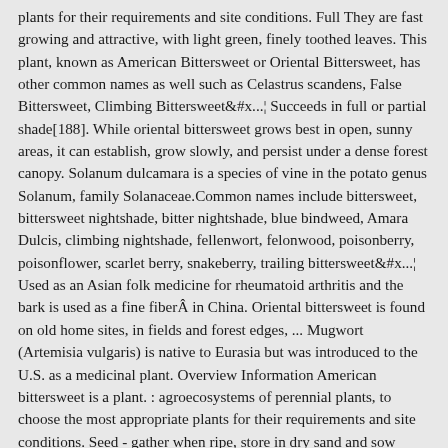plants for their requirements and site conditions. Full They are fast growing and attractive, with light green, finely toothed leaves. This plant, known as American Bittersweet or Oriental Bittersweet, has other common names as well such as Celastrus scandens, False Bittersweet, Climbing Bittersweet… Succeeds in full or partial shade[188]. While oriental bittersweet grows best in open, sunny areas, it can establish, grow slowly, and persist under a dense forest canopy. Solanum dulcamara is a species of vine in the potato genus Solanum, family Solanaceae.Common names include bittersweet, bittersweet nightshade, bitter nightshade, blue bindweed, Amara Dulcis, climbing nightshade, fellenwort, felonwood, poisonberry, poisonflower, scarlet berry, snakeberry, trailing bittersweet… Used as an Asian folk medicine for rheumatoid arthritis and the bark is used as a fine fiber  in China. Oriental bittersweet is found on old home sites, in fields and forest edges, ... Mugwort (Artemisia vulgaris) is native to Eurasia but was introduced to the U.S. as a medicinal plant. Overview Information American bittersweet is a plant. : agroecosystems of perennial plants, to choose the most appropriate plants for their requirements and site conditions. Seed - gather when ripe, store in dry sand and sow February in a warm greenhouse. Cu... We are working on a subset of plants in the PFAF database identified as having the most potential for inclusion in such designs. Its root and